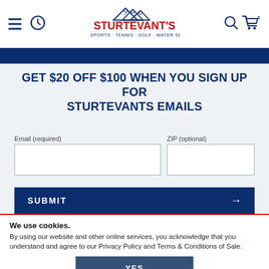[Figure (logo): Sturtevant's logo with mountains, red bold text STURTEVANT'S, tagline SNOW SPORTS · TENNIS · GOLF · WATER SPORTS]
GET $20 OFF $100 WHEN YOU SIGN UP FOR STURTEVANTS EMAILS
Email (required)
ZIP (optional)
SUBMIT →
We use cookies. By using our website and other online services, you acknowledge that you understand and agree to our Privacy Policy and Terms & Conditions of Sale.
YES